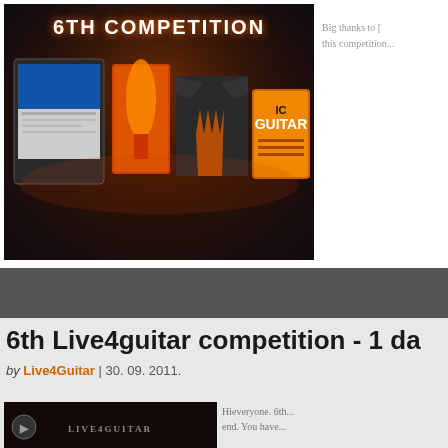[Figure (photo): 6th Competition promotional banner showing prizes: tablet with website, DVD/book, flame t-shirt, guitar picks pack against dark textured background]
Big thanks to [...] this competition...
6th Live4guitar competition - 1 da...
by Live4Guitar | 30. 09. 2011.
[Figure (photo): Bottom portion of 6th Live4guitar competition image]
Hieveryone. 6th... end. You have...